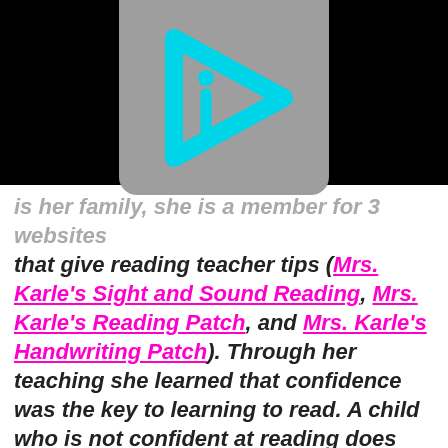[Figure (logo): Gray rounded rectangle logo with a cyan/turquoise play-button triangle outline and a lowercase 'i' inside it]
that give reading teacher tips (Mrs. Karle's Sight and Sound Reading, Mrs. Karle's Reading Patch, and Mrs. Karle's Handwriting Patch). Through her teaching she learned that confidence was the key to learning to read. A child who is not confident at reading does not like to read and struggles to read. Mrs. Karle created "sunshine moments" to help teach children how to grow their confidence and learn to read.